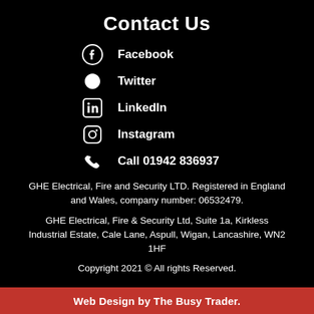Contact Us
Facebook
Twitter
LinkedIn
Instagram
Call 01942 836937
GHE Electrical, Fire and Security LTD. Registered in England and Wales, company number: 06532479.
GHE Electrical, Fire & Security Ltd, Suite 1a, Kirkless Industrial Estate, Cale Lane, Aspull, Wigan, Lancashire, WN2 1HF
Copyright 2021 © All rights Reserved.
Web Design by The Busy Trader.